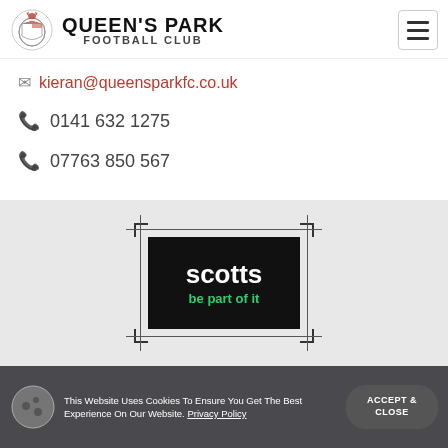[Figure (logo): Queen's Park Football Club logo with crest and text]
kieran@queensparkfc.co.uk
0141 632 1275
07763 850 567
[Figure (logo): Scotts 'be part of it' advertising banner on billboard frame]
This Website Uses Cookies To Ensure You Get The Best Experience On Our Website. Privacy Policy
ACCEPT & CLOSE